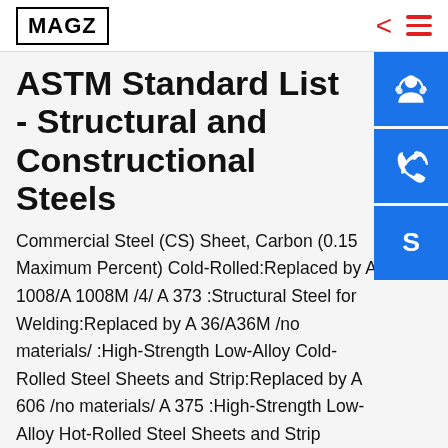MAGZ
ASTM Standard List - Structural and Constructional Steels
Commercial Steel (CS) Sheet, Carbon (0.15 Maximum Percent) Cold-Rolled:Replaced by A 1008/A 1008M /4/ A 373 :Structural Steel for Welding:Replaced by A 36/A36M /no materials/ :High-Strength Low-Alloy Cold-Rolled Steel Sheets and Strip:Replaced by A 606 /no materials/ A 375 :High-Strength Low-Alloy Hot-Rolled Steel Sheets and Strip ASTM, SAE and ISO Grade Markings for S asteners Hardnesses are Brinell Hardness Numbers. The nut manufacturer, at his option, may